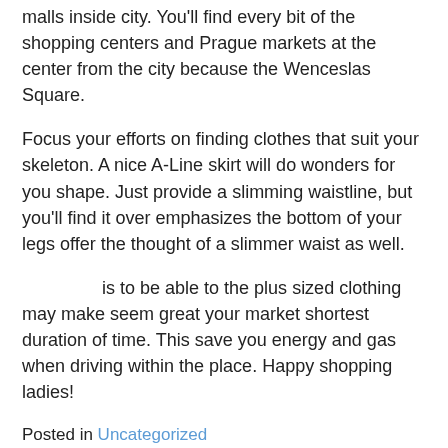malls inside city. You'll find every bit of the shopping centers and Prague markets at the center from the city because the Wenceslas Square.
Focus your efforts on finding clothes that suit your skeleton. A nice A-Line skirt will do wonders for you shape. Just provide a slimming waistline, but you'll find it over emphasizes the bottom of your legs offer the thought of a slimmer waist as well.
is to be able to the plus sized clothing may make seem great your market shortest duration of time. This save you energy and gas when driving within the place. Happy shopping ladies!
Posted in Uncategorized